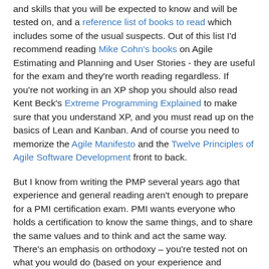and skills that you will be expected to know and will be tested on, and a reference list of books to read which includes some of the usual suspects. Out of this list I'd recommend reading Mike Cohn's books on Agile Estimating and Planning and User Stories - they are useful for the exam and they're worth reading regardless. If you're not working in an XP shop you should also read Kent Beck's Extreme Programming Explained to make sure that you understand XP, and you must read up on the basics of Lean and Kanban. And of course you need to memorize the Agile Manifesto and the Twelve Principles of Agile Software Development front to back.
But I know from writing the PMP several years ago that experience and general reading aren't enough to prepare for a PMI certification exam. PMI wants everyone who holds a certification to know the same things, and to share the same values and to think and act the same way. There's an emphasis on orthodoxy – you're tested not on what you would do (based on your experience and common practical knowledge), but what you should do according to PMI's definition of what "the right way" is to do something. And